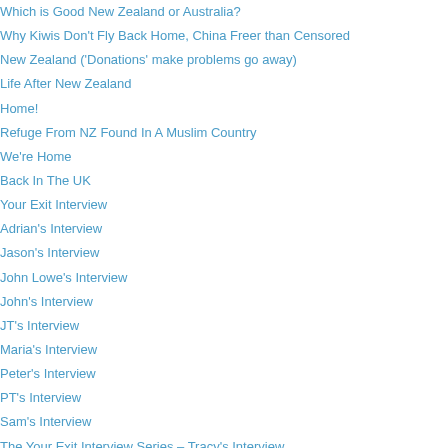Which is Good New Zealand or Australia?
Why Kiwis Don't Fly Back Home, China Freer than Censored
New Zealand ('Donations' make problems go away)
Life After New Zealand
Home!
Refuge From NZ Found In A Muslim Country
We're Home
Back In The UK
Your Exit Interview
Adrian's Interview
Jason's Interview
John Lowe's Interview
John's Interview
JT's Interview
Maria's Interview
Peter's Interview
PT's Interview
Sam's Interview
The Your Exit Interview Series – Tracy's Interview
Veronica's Interview